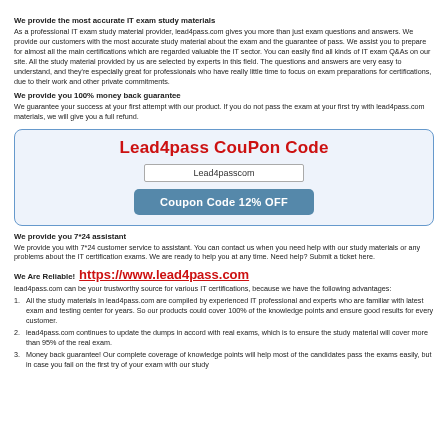We provide the most accurate IT exam study materials
As a professional IT exam study material provider, lead4pass.com gives you more than just exam questions and answers. We provide our customers with the most accurate study material about the exam and the guarantee of pass. We assist you to prepare for almost all the main certifications which are regarded valuable the IT sector. You can easily find all kinds of IT exam Q&As on our site. All the study material provided by us are selected by experts in this field. The questions and answers are very easy to understand, and they're especially great for professionals who have really little time to focus on exam preparations for certifications, due to their work and other private commitments.
We provide you 100% money back guarantee
We guarantee your success at your first attempt with our product. If you do not pass the exam at your first try with lead4pass.com materials, we will give you a full refund.
[Figure (infographic): Coupon box with title 'Lead4pass CouPon Code', input field showing 'Lead4passcom', and a blue button 'Coupon Code 12% OFF']
We provide you 7*24 assistant
We provide you with 7*24 customer service to assistant. You can contact us when you need help with our study materials or any problems about the IT certification exams. We are ready to help you at any time. Need help? Submit a ticket here.
We Are Reliable! https://www.lead4pass.com
lead4pass.com can be your trustworthy source for various IT certifications, because we have the following advantages:
1. All the study materials in lead4pass.com are compiled by experienced IT professional and experts who are familiar with latest exam and testing center for years. So our products could cover 100% of the knowledge points and ensure good results for every customer.
2. lead4pass.com continues to update the dumps in accord with real exams, which is to ensure the study material will cover more than 95% of the real exam.
3. Money back guarantee! Our complete coverage of knowledge points will help most of the candidates pass the exams easily, but in case you fail on the first try of your exam with our study